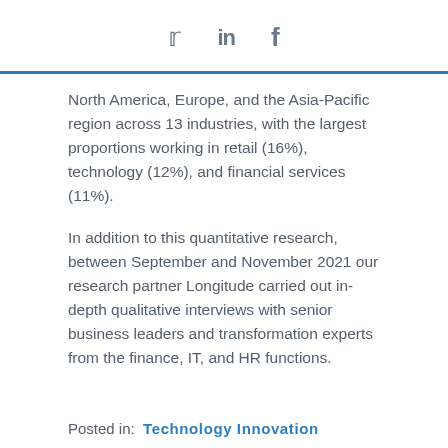[Figure (other): Social media share icons: Twitter bird, LinkedIn 'in', Facebook 'f']
North America, Europe, and the Asia-Pacific region across 13 industries, with the largest proportions working in retail (16%), technology (12%), and financial services (11%).
In addition to this quantitative research, between September and November 2021 our research partner Longitude carried out in-depth qualitative interviews with senior business leaders and transformation experts from the finance, IT, and HR functions.
Posted in:  Technology Innovation
finance transformation